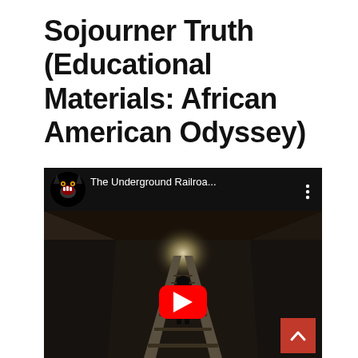Sojourner Truth (Educational Materials: African American Odyssey)
[Figure (screenshot): YouTube video embed showing 'The Underground Railroa...' with a black panther avatar icon on the left, video title text and a three-dot menu on the right in the top bar. The video thumbnail shows a silhouette of a person standing on railroad tracks inside a dark tunnel with light at the far end. A red YouTube play button is centered over the thumbnail.]